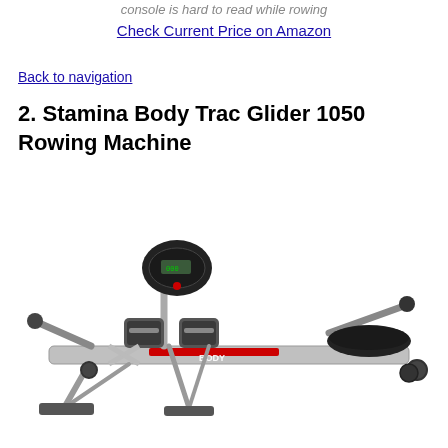console is hard to read while rowing
Check Current Price on Amazon
Back to navigation
2. Stamina Body Trac Glider 1050 Rowing Machine
[Figure (photo): Photo of the Stamina Body Trac Glider 1050 Rowing Machine, a silver and black rowing machine with red accents, footrests, handles, and a digital console, shown on a white background.]